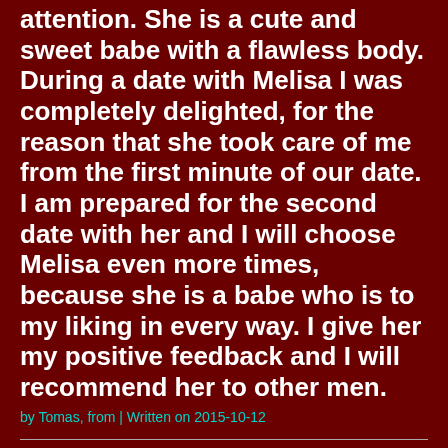attention. She is a cute and sweet babe with a flawless body. During a date with Melisa I was completely delighted, for the reason that she took care of me from the first minute of our date. I am prepared for the second date with her and I will choose Melisa even more times, because she is a babe who is to my liking in every way. I give her my positive feedback and I will recommend her to other men.
by Tomas, from | Written on 2015-10-12
Very appetizing and